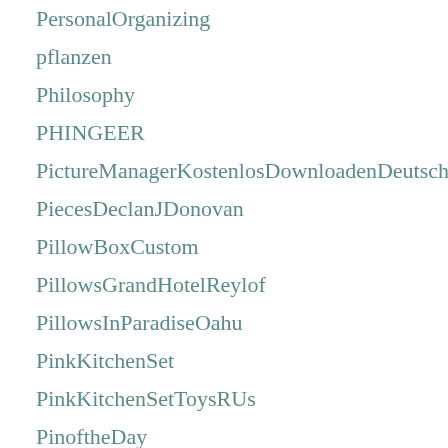PersonalOrganizing
pflanzen
Philosophy
PHINGEER
PictureManagerKostenlosDownloadenDeutsch
PiecesDeclanJDonovan
PillowBoxCustom
PillowsGrandHotelReylof
PillowsInParadiseOahu
PinkKitchenSet
PinkKitchenSetToysRUs
PinoftheDay
Pinterest
PlasticBank